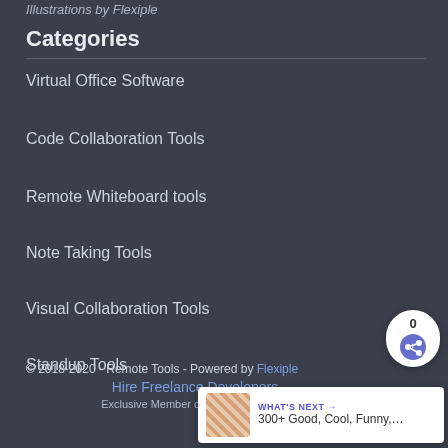Illustrations by Flexiple
Categories
Virtual Office Software
Code Collaboration Tools
Remote Whiteboard tools
Note Taking Tools
Visual Collaboration Tools
Standup Tools
© 2018-2020 - Remote Tools - Powered by Flexiple
Hire Freelance Developers
Exclusive Member of Mediavine Home